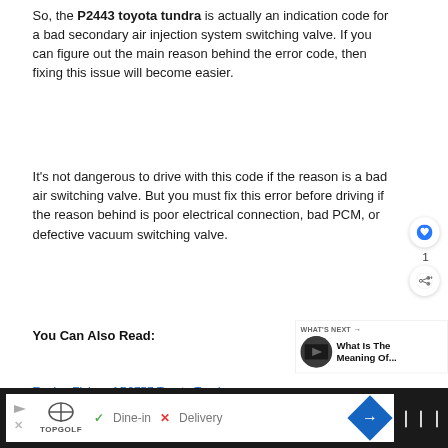So, the P2443 toyota tundra is actually an indication code for a bad secondary air injection system switching valve. If you can figure out the main reason behind the error code, then fixing this issue will become easier.
It's not dangerous to drive with this code if the reason is a bad air switching valve. But you must fix this error before driving if the reason behind is poor electrical connection, bad PCM, or defective vacuum switching valve.
You Can Also Read:
[Figure (screenshot): What's Next promo box with image thumbnail and text 'What Is The Meaning Of...']
Engine Fixing of P0757 Toyota Tundra (partially visible link)
[Figure (screenshot): Ad banner at bottom: TopGolf advertisement with Dine-in and Delivery options, navigation icon, and dark right section]